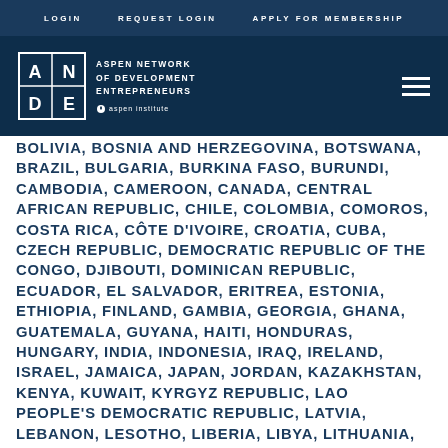LOGIN   REQUEST LOGIN   APPLY FOR MEMBERSHIP
[Figure (logo): ANDE - Aspen Network of Development Entrepreneurs logo with Aspen Institute mark]
BOLIVIA, BOSNIA AND HERZEGOVINA, BOTSWANA, BRAZIL, BULGARIA, BURKINA FASO, BURUNDI, CAMBODIA, CAMEROON, CANADA, CENTRAL AFRICAN REPUBLIC, CHILE, COLOMBIA, COMOROS, COSTA RICA, CÔTE D'IVOIRE, CROATIA, CUBA, CZECH REPUBLIC, DEMOCRATIC REPUBLIC OF THE CONGO, DJIBOUTI, DOMINICAN REPUBLIC, ECUADOR, EL SALVADOR, ERITREA, ESTONIA, ETHIOPIA, FINLAND, GAMBIA, GEORGIA, GHANA, GUATEMALA, GUYANA, HAITI, HONDURAS, HUNGARY, INDIA, INDONESIA, IRAQ, IRELAND, ISRAEL, JAMAICA, JAPAN, JORDAN, KAZAKHSTAN, KENYA, KUWAIT, KYRGYZ REPUBLIC, LAO PEOPLE'S DEMOCRATIC REPUBLIC, LATVIA, LEBANON, LESOTHO, LIBERIA, LIBYA, LITHUANIA, MADAGASCAR, MALAWI, MALAYSIA, MALDIVES, MALI, MAURITIUS, MAYOTTE, MEXICO, MOLDOVA, MONGOLIA, MONTENEGRO, MOROCCO, MOZAMBIQUE, MYANMAR, NAMIBIA, NEPAL, NICARAGUA, NIGER, NIGERIA, PAKISTAN, PALESTINIAN TERRITORY, OCCUPIED, PANAMA, PARAGUAY, PERU, PHILIPPINES, POLAND, PUERTO RICO, QATAR, REPUBLIC OF CABO VERDE, REPUBLIC OF THE CONGO